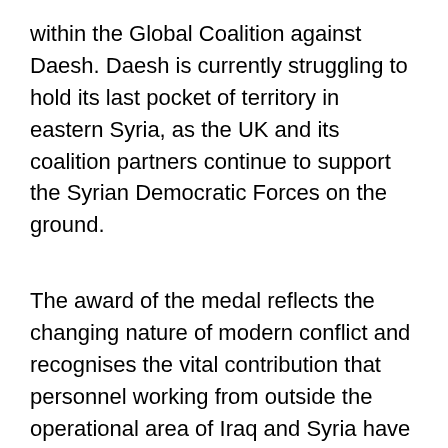within the Global Coalition against Daesh. Daesh is currently struggling to hold its last pocket of territory in eastern Syria, as the UK and its coalition partners continue to support the Syrian Democratic Forces on the ground.
The award of the medal reflects the changing nature of modern conflict and recognises the vital contribution that personnel working from outside the operational area of Iraq and Syria have made to the campaign. The personnel to be awarded the Op SHADER medal without clasp include RAF Reaper crews, based at RAF Waddington in Lincolnshire and Creech Air Force Base in Nevada, US. This is the first time that Remotely Piloted Aircraft Systems crews have received formal medallic recognition. Ground crew